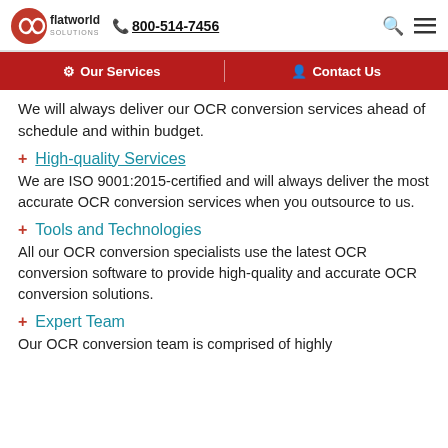flatworld solutions | 800-514-7456
Our Services | Contact Us
We will always deliver our OCR conversion services ahead of schedule and within budget.
High-quality Services
We are ISO 9001:2015-certified and will always deliver the most accurate OCR conversion services when you outsource to us.
Tools and Technologies
All our OCR conversion specialists use the latest OCR conversion software to provide high-quality and accurate OCR conversion solutions.
Expert Team
Our OCR conversion team is comprised of highly